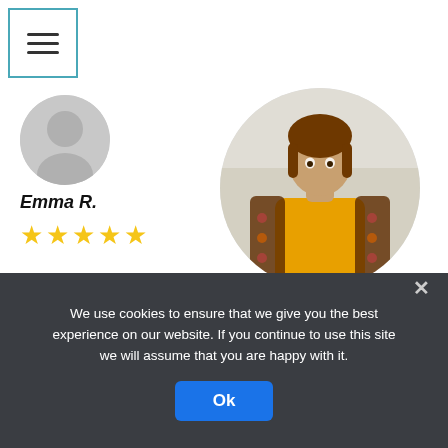[Figure (screenshot): Hamburger menu button icon with three horizontal lines inside a square border]
[Figure (photo): Partial circular avatar placeholder (gray) on the left]
[Figure (photo): Circular photo of a person wearing an orange/yellow top with a patterned jacket, cropped in a circle]
Emma R.
★★★★★
ORDER
Professional Homework Help
We use cookies to ensure that we give you the best experience on our website. If you continue to use this site we will assume that you are happy with it.
Ok